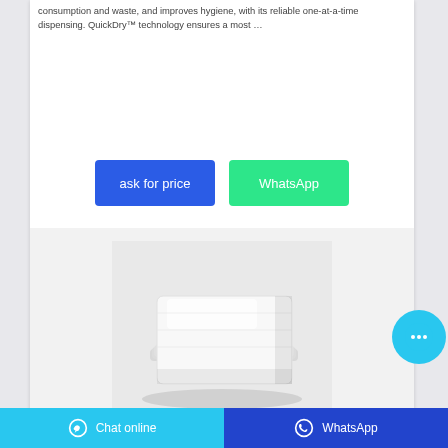consumption and waste, and improves hygiene, with its reliable one-at-a-time dispensing. QuickDry™ technology ensures a most …
[Figure (other): Two buttons: 'ask for price' (blue) and 'WhatsApp' (green)]
[Figure (photo): Stack of white folded paper towels on a light grey background]
[Figure (other): Circular chat button with ellipsis icon in cyan blue]
Chat online   WhatsApp